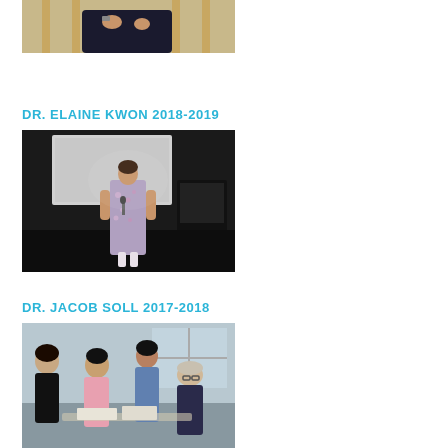[Figure (photo): Partially visible photo (cropped at top) of a person seated in a wooden director's chair, wearing dark clothing, with hands visible]
DR. ELAINE KWON 2018-2019
[Figure (photo): Photo of Dr. Elaine Kwon standing on a stage in front of a projection screen and a piano, wearing a floral patterned dress, speaking or presenting]
DR. JACOB SOLL 2017-2018
[Figure (photo): Photo of Dr. Jacob Soll with several students, all looking down at something, appears to be an indoor event or workshop setting]